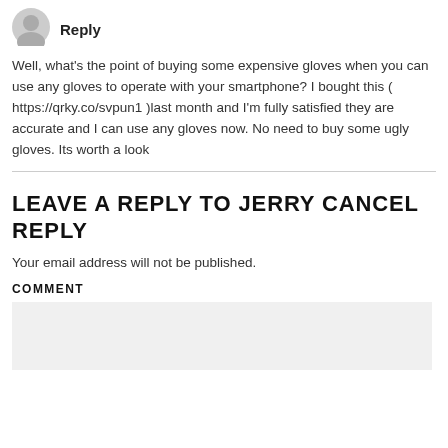[Figure (illustration): Circular avatar/profile picture placeholder in light gray]
Reply
Well, what’s the point of buying some expensive gloves when you can use any gloves to operate with your smartphone? I bought this ( https://qrky.co/svpun1 )last month and I’m fully satisfied they are accurate and I can use any gloves now. No need to buy some ugly gloves. Its worth a look
LEAVE A REPLY TO JERRY CANCEL REPLY
Your email address will not be published.
COMMENT